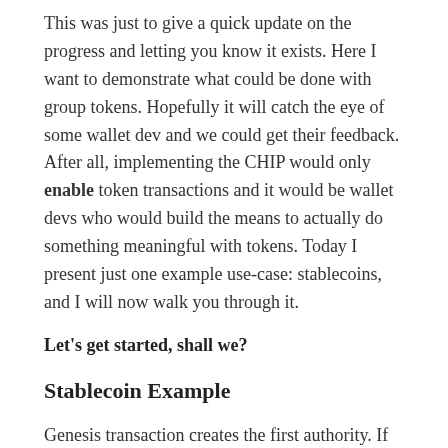This was just to give a quick update on the progress and letting you know it exists. Here I want to demonstrate what could be done with group tokens. Hopefully it will catch the eye of some wallet dev and we could get their feedback. After all, implementing the CHIP would only enable token transactions and it would be wallet devs who would build the means to actually do something meaningful with tokens. Today I present just one example use-case: stablecoins, and I will now walk you through it.
Let's get started, shall we?
Stablecoin Example
Genesis transaction creates the first authority. If not enough authority is given at genesis, we could be creating an useless group. These are new concepts...